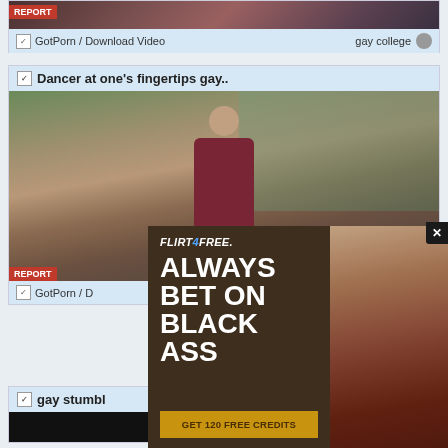[Figure (screenshot): Top video card with red REPORT badge, thumbnail image, and meta bar showing GotPorn / Download Video and gay college tag]
GotPorn / Download Video
gay college
Dancer at one's fingertips gay..
[Figure (screenshot): Second video card showing man in red shirt bending over in a studio room with camera equipment]
REPORT
GotPorn / D
[Figure (advertisement): Flirt4Free advertisement overlay with dark brown background showing ALWAYS BET ON BLACK ASS headline and GET 120 FREE CREDITS button, with image of woman on right side]
gay stumbl